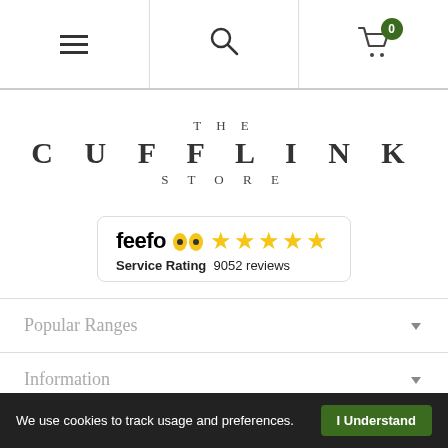[Figure (screenshot): Mobile navigation bar with hamburger menu, search icon, and shopping cart with badge showing 0 items]
[Figure (logo): The Cufflink Store logo in serif font with spaced letters]
[Figure (infographic): Feefo service rating badge showing 5 stars and 9052 reviews]
Popular Ranges
Information
01603 722020
We use cookies to track usage and preferences. I Understand